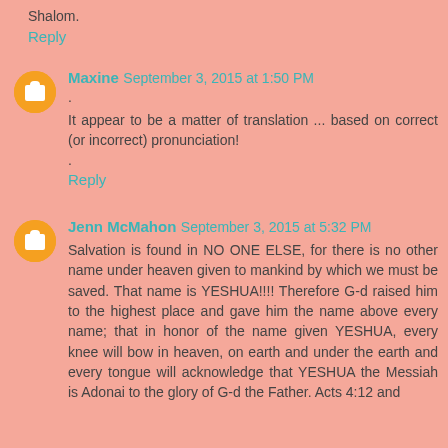Shalom.
Reply
Maxine  September 3, 2015 at 1:50 PM
.
It appear to be a matter of translation ... based on correct (or incorrect) pronunciation!
.
Reply
Jenn McMahon  September 3, 2015 at 5:32 PM
Salvation is found in NO ONE ELSE, for there is no other name under heaven given to mankind by which we must be saved. That name is YESHUA!!!! Therefore G-d raised him to the highest place and gave him the name above every name; that in honor of the name given YESHUA, every knee will bow in heaven, on earth and under the earth and every tongue will acknowledge that YESHUA the Messiah is Adonai to the glory of G-d the Father. Acts 4:12 and